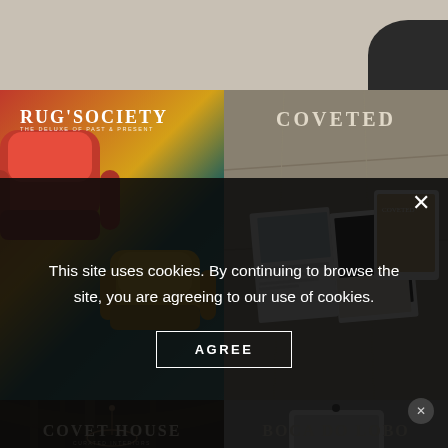[Figure (screenshot): Website screenshot showing a grid of brand logos/tiles: top strip with neutral background, RUG'SOCIETY tile (teal background with red and gold armchairs), COVETED tile (stone texture with magazine mockups), COVET HOUSE tile (dark interior), and a fourth tile partially visible. A dark cookie consent overlay appears at the bottom.]
RUG'SOCIETY
THE DELUXE OF PAST & PRESENT
COVETED
COVET HOUSE
This site uses cookies. By continuing to browse the site, you are agreeing to our use of cookies.
AGREE